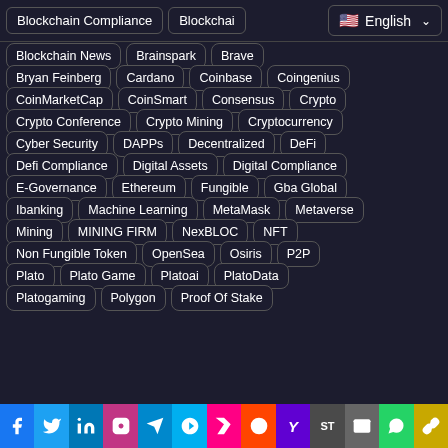Blockchain Compliance | Blockchai | English
Blockchain News
Brainspark
Brave
Bryan Feinberg
Cardano
Coinbase
Coingenius
CoinMarketCap
CoinSmart
Consensus
Crypto
Crypto Conference
Crypto Mining
Cryptocurrency
Cyber Security
DAPPs
Decentralized
DeFi
Defi Compliance
Digital Assets
Digital Compliance
E-Governance
Ethereum
Fungible
Gba Global
Ibanking
Machine Learning
MetaMask
Metaverse
Mining
MINING FIRM
NexBLOC
NFT
Non Fungible Token
OpenSea
Osiris
P2P
Plato
Plato Game
Platoai
PlatoData
Platogaming
Polygon
Proof Of Stake
Social share bar: Facebook, Twitter, LinkedIn, Instagram, Telegram, Skype, Flipboard, Reddit, Yahoo, SmarterTravel, Mail, WhatsApp, Link